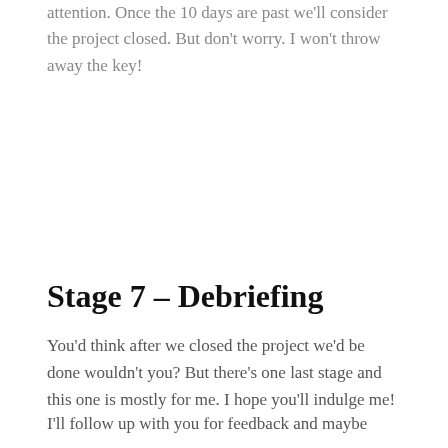attention. Once the 10 days are past we'll consider the project closed. But don't worry. I won't throw away the key!
Stage 7 – Debriefing
You'd think after we closed the project we'd be done wouldn't you? But there's one last stage and this one is mostly for me. I hope you'll indulge me!
I'll follow up with you for feedback and maybe even a